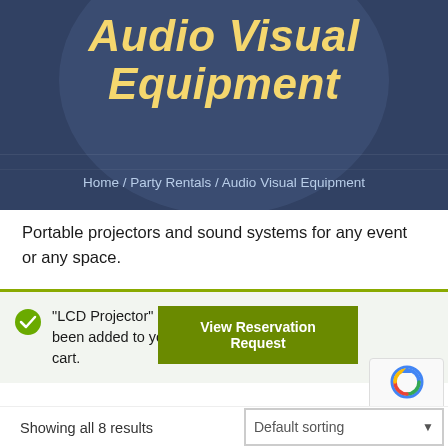[Figure (photo): Hero banner with dark blue overlay, showing audio/visual equipment in background. Large bold yellow italic title 'Audio Visual Equipment' centered. Breadcrumb navigation below.]
Audio Visual Equipment
Home / Party Rentals / Audio Visual Equipment
Portable projectors and sound systems for any event or any space.
“LCD Projector” has been added to your cart.
View Reservation Request
Showing all 8 results
Default sorting